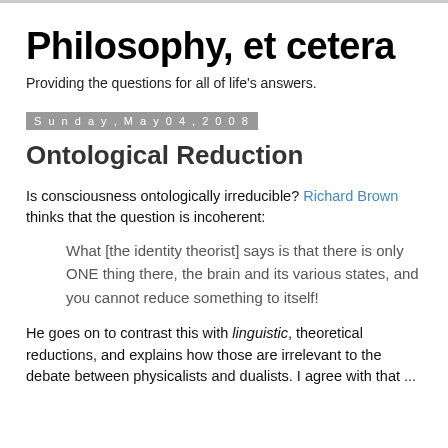Philosophy, et cetera
Providing the questions for all of life's answers.
Sunday, May 04, 2008
Ontological Reduction
Is consciousness ontologically irreducible? Richard Brown thinks that the question is incoherent:
What [the identity theorist] says is that there is only ONE thing there, the brain and its various states, and you cannot reduce something to itself!
He goes on to contrast this with linguistic, theoretical reductions, and explains how those are irrelevant to the debate between physicalists and dualists. I agree with that ...